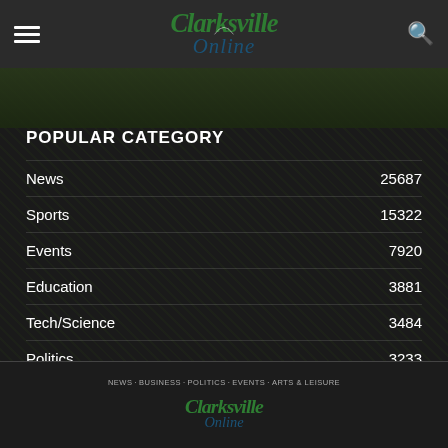Clarksville Online
POPULAR CATEGORY
News  25687
Sports  15322
Events  7920
Education  3881
Tech/Science  3484
Politics  3233
NEWS · BUSINESS · POLITICS · EVENTS · ARTS & LEISURE